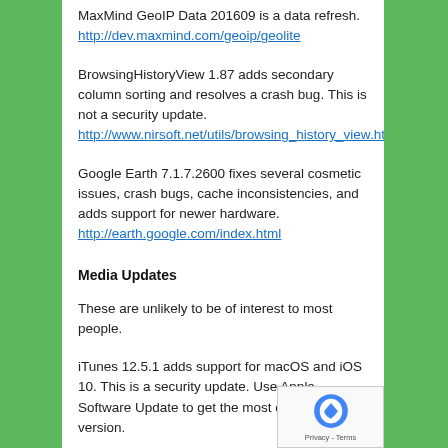MaxMind GeoIP Data 201609 is a data refresh.
http://dev.maxmind.com/geoip/geolite
BrowsingHistoryView 1.87 adds secondary column sorting and resolves a crash bug. This is not a security update.
http://www.nirsoft.net/utils/browsing_history_view.html
Google Earth 7.1.7.2600 fixes several cosmetic issues, crash bugs, cache inconsistencies, and adds support for newer hardware.
http://earth.google.com/index.html
Media Updates
These are unlikely to be of interest to most people.
iTunes 12.5.1 adds support for macOS and iOS 10. This is a security update. Use Apple Software Update to get the most current version.
CDBurnerXP 4.5.7.6321 adds keyboard shortcuts to